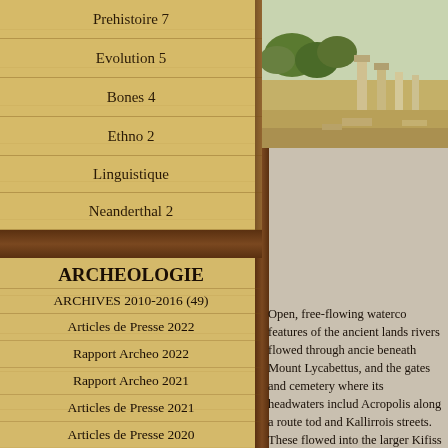Prehistoire 7
Evolution 5
Bones 4
Ethno 2
Linguistique
Neanderthal 2
ARCHEOLOGIE
ARCHIVES 2010-2016 (49)
Articles de Presse 2022
Rapport Archeo 2022
Rapport Archeo 2021
Articles de Presse 2021
Articles de Presse 2020
Rapport Archéo 2020
Rapports archeo 2019
Rapports Archeo 2018
[Figure (photo): Ancient ruins/archaeological site with columns]
Open, free-flowing waterco features of the ancient lands rivers flowed through ancie beneath Mount Lycabettus, and the gates and cemetery where its headwaters includ Acropolis along a route tod and Kallirrois streets. These flowed into the larger Kifiss The Eridanos and Ilissos riv washing, cooking, religious